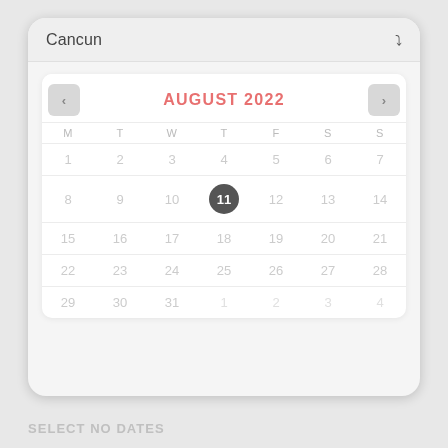Cancun
[Figure (other): August 2022 calendar with date 11 selected (shown with dark circle marker). Days of week header: M T W T F S S. Weeks: 1-7, 8-14 (11 selected), 15-21, 22-28, 29-31 and overflow 1-4.]
SELECT NO DATES